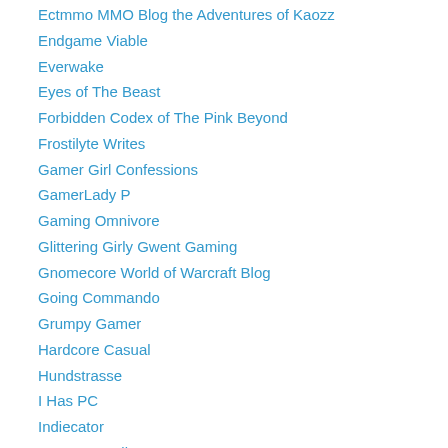Ectmmo MMO Blog the Adventures of Kaozz
Endgame Viable
Everwake
Eyes of The Beast
Forbidden Codex of The Pink Beyond
Frostilyte Writes
Gamer Girl Confessions
GamerLady P
Gaming Omnivore
Glittering Girly Gwent Gaming
Gnomecore World of Warcraft Blog
Going Commando
Grumpy Gamer
Hardcore Casual
Hundstrasse
I Has PC
Indiecator
Inventory Full
JamiesVlogUK
Jinxed Thoughts